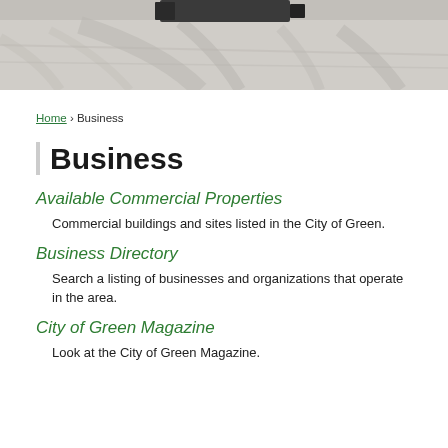[Figure (photo): Aerial or ground-level photo of a road/parking lot surface with tire tracks and a truck or vehicle visible at top]
Home › Business
Business
Available Commercial Properties
Commercial buildings and sites listed in the City of Green.
Business Directory
Search a listing of businesses and organizations that operate in the area.
City of Green Magazine
Look at the City of Green Magazine.